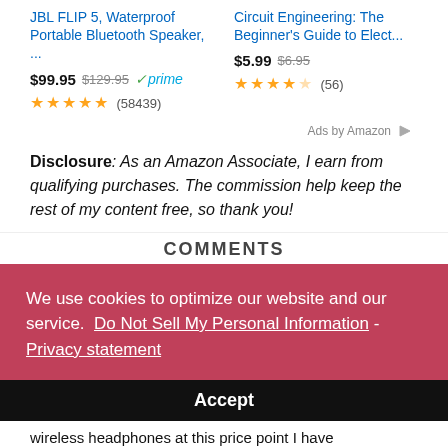JBL FLIP 5, Waterproof Portable Bluetooth Speaker, ...
Circuit Engineering: The Beginner's Guide to Elect...
$99.95 $129.95 prime (58439)
$5.99 $6.95 (56)
Ads by Amazon
Disclosure: As an Amazon Associate, I earn from qualifying purchases. The commission help keep the rest of my content free, so thank you!
COMMENTS
We use cookies to optimize our website and our service.  Do Not Sell My Personal Information - Privacy statement
Accept
wireless headphones at this price point I have